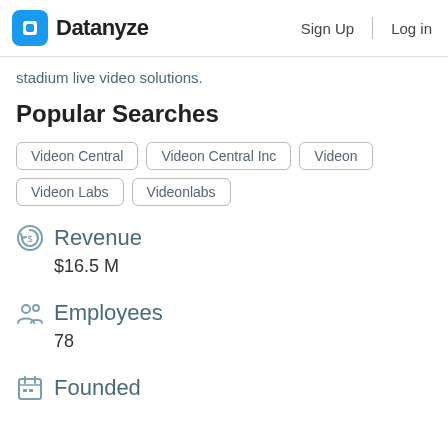Datanyze  Sign Up  Log in
stadium live video solutions.
Popular Searches
Videon Central
Videon Central Inc
Videon
Videon Labs
Videonlabs
Revenue
$16.5 M
Employees
78
Founded